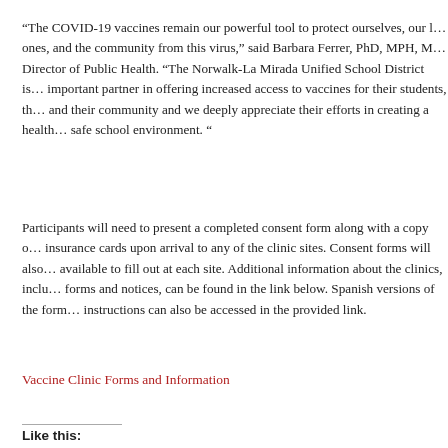“The COVID-19 vaccines remain our powerful tool to protect ourselves, our loved ones, and the community from this virus,” said Barbara Ferrer, PhD, MPH, MSW, Director of Public Health. “The Norwalk-La Mirada Unified School District is an important partner in offering increased access to vaccines for their students, their families and their community and we deeply appreciate their efforts in creating a healthy and safe school environment. ”
Participants will need to present a completed consent form along with a copy of their insurance cards upon arrival to any of the clinic sites. Consent forms will also be available to fill out at each site. Additional information about the clinics, including forms and notices, can be found in the link below. Spanish versions of the forms and instructions can also be accessed in the provided link.
Vaccine Clinic Forms and Information
Like this: